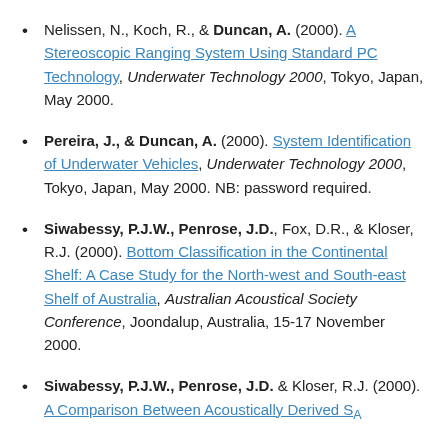Nelissen, N., Koch, R., & Duncan, A. (2000). A Stereoscopic Ranging System Using Standard PC Technology, Underwater Technology 2000, Tokyo, Japan, May 2000.
Pereira, J., & Duncan, A. (2000). System Identification of Underwater Vehicles, Underwater Technology 2000, Tokyo, Japan, May 2000. NB: password required.
Siwabessy, P.J.W., Penrose, J.D., Fox, D.R., & Kloser, R.J. (2000). Bottom Classification in the Continental Shelf: A Case Study for the North-west and South-east Shelf of Australia, Australian Acoustical Society Conference, Joondalup, Australia, 15-17 November 2000.
Siwabessy, P.J.W., Penrose, J.D. & Kloser, R.J. (2000). A Comparison Between Acoustically Derived SA